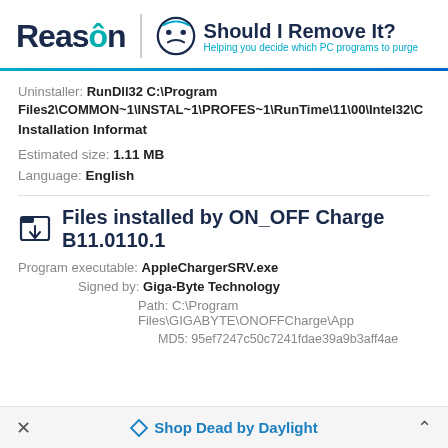[Figure (logo): Reason / Should I Remove It? logo header with blue gradient rule]
Uninstaller: RunDll32 C:\Program Files2\COMMON~1\INSTAL~1\PROFES~1\RunTime\11\00\Intel32\C
Installation Informat
Estimated size: 1.11 MB
Language: English
Files installed by ON_OFF Charge B11.0110.1
Program executable: AppleChargerSRV.exe
Signed by: Giga-Byte Technology
Path: C:\Program Files\GIGABYTE\ONOFFCharge\App
MD5: 95ef7247c50c7241fdae39a9b3aff4ae
Shop Dead by Daylight